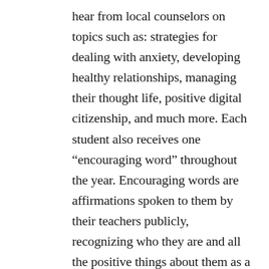hear from local counselors on topics such as: strategies for dealing with anxiety, developing healthy relationships, managing their thought life, positive digital citizenship, and much more. Each student also receives one “encouraging word” throughout the year. Encouraging words are affirmations spoken to them by their teachers publicly, recognizing who they are and all the positive things about them as a person. Through the support of their teachers and peers, our students are able to peel back old, false labels and believe in themselves.